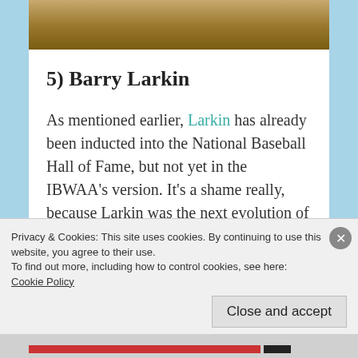[Figure (photo): Partial photo strip at top of page, showing a brown/earth toned outdoor scene, cropped]
5) Barry Larkin
As mentioned earlier, Larkin has already been inducted into the National Baseball Hall of Fame, but not yet in the IBWAA’s version. It’s a shame really, because Larkin was the next evolution of offensive shortstop, following in the footsteps of Cal Ripken, Jr. in the 80’s. Larkin pretty much did everything(a 5 tool player), which was a big part of why he was one of my favorites of all-time. Larkin was a 12 time All-Star, 1995 NL MVP, 3 time Gold Glove
Privacy & Cookies: This site uses cookies. By continuing to use this website, you agree to their use.
To find out more, including how to control cookies, see here:
Cookie Policy
Close and accept